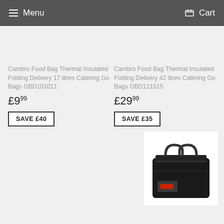Menu   Cart
Cambro Food Bag Thermal Insulated Folding Delivery 17 litres Catering Go Bags GBD101011
Cambro Food Bag Thermal Insulated Folding Delivery 42 litres Catering Go Bags GBD121515
£9.99
£29.99
SAVE £40
SAVE £35
[Figure (photo): Black Cambro thermal insulated folding delivery bag with red label and carry handles]